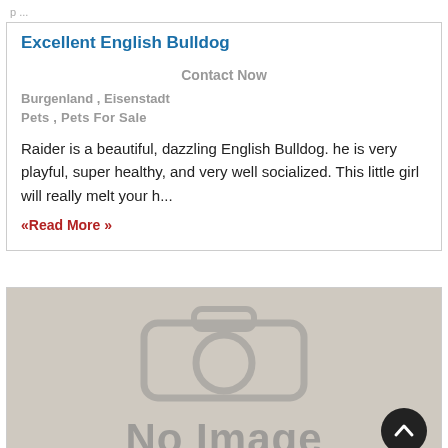p ...
Excellent English Bulldog
Contact Now
Burgenland , Eisenstadt
Pets , Pets For Sale
Raider is a beautiful, dazzling English Bulldog. he is very playful, super healthy, and very well socialized. This little girl will really melt your h...
«Read More »
[Figure (photo): No Image placeholder with camera icon on a beige/tan background, with a circular dark scroll-to-top button in the bottom right corner.]